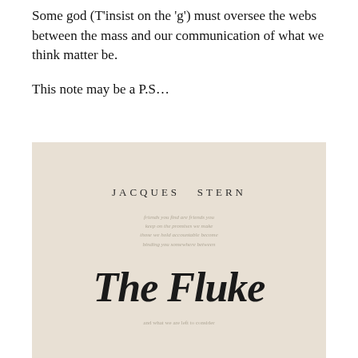Some god (T'insist on the 'g') must oversee the webs between the mass and our communication of what we think matter be.
This note may be a P.S…
[Figure (photo): Photograph of a book title page showing 'JACQUES STERN' in small caps at the top and 'The Fluke' in large bold italic type at the bottom, on a beige/cream background with faded text in between.]